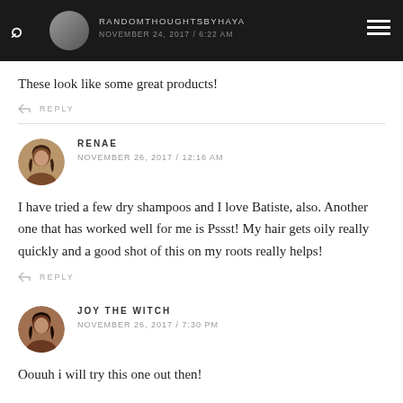RANDOMTHOUGHTSBYHAYA | NOVEMBER 24, 2017 / 6:22 AM
These look like some great products!
REPLY
RENAE
NOVEMBER 26, 2017 / 12:16 AM
I have tried a few dry shampoos and I love Batiste, also. Another one that has worked well for me is Pssst! My hair gets oily really quickly and a good shot of this on my roots really helps!
REPLY
JOY THE WITCH
NOVEMBER 26, 2017 / 7:30 PM
Oouuh i will try this one out then!